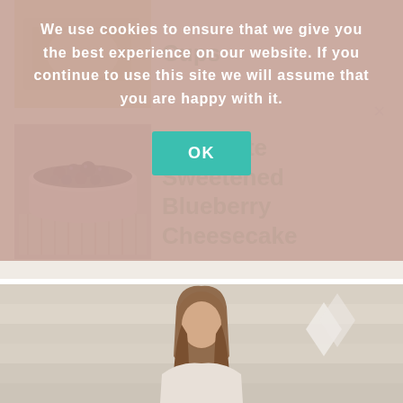[Figure (screenshot): Cookie consent overlay on a food blog website. Overlay has mauve/pink background with white bold text reading 'We use cookies to ensure that we give you the best experience on our website. If you continue to use this site we will assume that you are happy with it.' with a teal OK button below. Behind the overlay are recipe cards on a beige background showing 'Cups' and 'Raw Date Sweetened Blueberry Cheesecake' links with food photos, and at the bottom a partial photo of a woman with long hair in a white setting.]